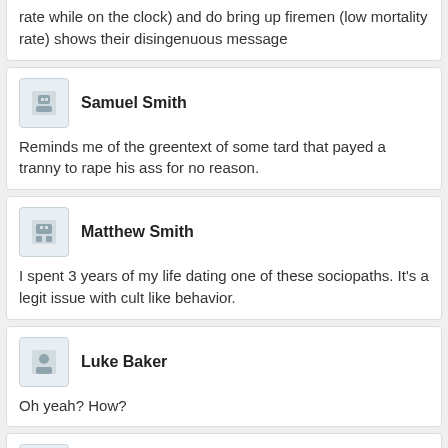rate while on the clock) and do bring up firemen (low mortality rate) shows their disingenuous message
Samuel Smith
Reminds me of the greentext of some tard that payed a tranny to rape his ass for no reason.
Matthew Smith
I spent 3 years of my life dating one of these sociopaths. It's a legit issue with cult like behavior.
Luke Baker
Oh yeah? How?
Eli Howard
If someone blew their load on her face I'd consider